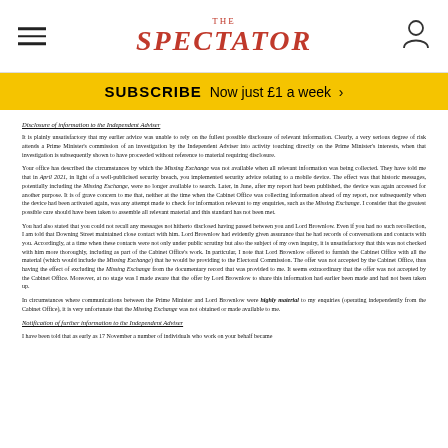THE SPECTATOR
SUBSCRIBE Now just £1 a week >
Disclosure of information to the Independent Adviser
It is plainly unsatisfactory that my earlier advice was unable to rely on the fullest possible disclosure of relevant information. Clearly, a very serious degree of risk attends a Prime Minister's commission of an investigation by the Independent Adviser into activity touching directly on the Prime Minister's interests, when that investigation is subsequently shown to have proceeded without reference to material requiring disclosure.
Your office has described the circumstances by which the Missing Exchange was not available when all relevant information was being collected. They have told me that in April 2021, in light of a well-publicised security breach, you implemented security advice relating to a mobile device. The effect was that historic messages, potentially including the Missing Exchange, were no longer available to search. Later, in June, after my report had been published, the device was again accessed for another purpose. It is of grave concern to me that, neither at the time when the Cabinet Office was collecting information ahead of my report, nor subsequently when the device had been activated again, was any attempt made to check for information relevant to my enquiries, such as the Missing Exchange. I consider that the greatest possible care should have been taken to assemble all relevant material and this standard has not been met.
You had also stated that you could not recall any messages not hitherto disclosed having passed between you and Lord Brownlow. Even if you had no such recollection, I am told that Downing Street maintained close contact with him. Lord Brownlow had evidently given assurance that he had records of conversations and contacts with you. Accordingly, at a time when these contacts were not only under public scrutiny but also the subject of my own inquiry, it is unsatisfactory that this was not checked with him more thoroughly, including as part of the Cabinet Office's work. In particular, I note that Lord Brownlow offered to furnish the Cabinet Office with all the material (which would include the Missing Exchange) that he would be providing to the Electoral Commission. The offer was not accepted by the Cabinet Office, thus having the effect of excluding the Missing Exchange from the documentary record that was provided to me. It seems extraordinary that the offer was not accepted by the Cabinet Office. Moreover, at no stage was I made aware that the offer by Lord Brownlow to share this information had earlier been made and had not been taken up.
In circumstances where communications between the Prime Minister and Lord Brownlow were highly material to my enquiries (operating independently from the Cabinet Office), it is very unfortunate that the Missing Exchange was not obtained or made available to me.
Notification of further information to the Independent Adviser
I have been told that as early as 17 November a number of individuals who work on your behalf became